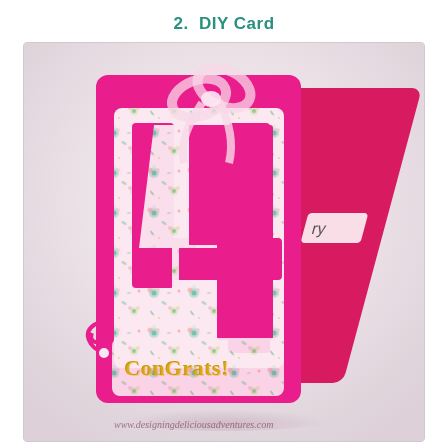2.  DIY Card
[Figure (photo): A handmade DIY card in hot pink/fuchsia cardstock with a large cutout number '4' revealing floral patterned paper underneath. The card is folded like a tent card and tied at the top with a sheer white ribbon bow. Gold glitter text reads 'ConGrats!' at the bottom. A partial view of the back of the card shows text ending in 'ry'. A decorative swirl element appears at the lower left.]
www.designingdeliciousadventures.com